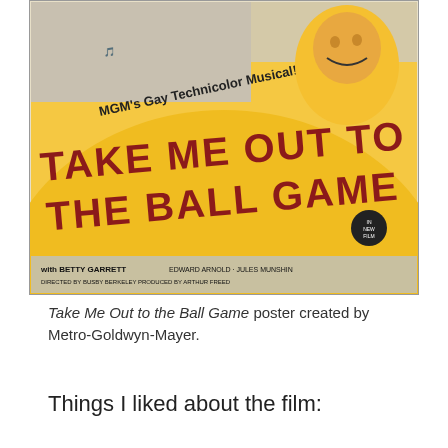[Figure (photo): Movie poster for 'Take Me Out to the Ball Game', an MGM Gay Technicolor Musical. Bold red lettering on yellow background reads 'Take Me Out to The Ball Game'. Text at bottom reads 'with Betty Garrett, Edward Arnold, Jules Munshin'. Directed by Busby Berkeley, Produced by Arthur Freed. Features portrait photos of cast members including a large smiling man at top right.]
Take Me Out to the Ball Game poster created by Metro-Goldwyn-Mayer.
Things I liked about the film: